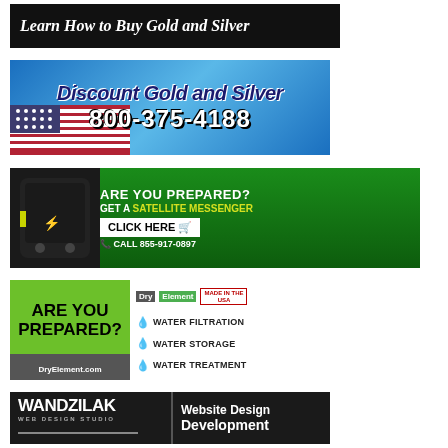[Figure (other): Ad banner: Learn How to Buy Gold and Silver, black background, white italic text]
[Figure (other): Ad banner: Discount Gold and Silver, blue gradient background with US flag graphic, phone number 800-375-4188]
[Figure (other): Ad banner: Are You Prepared? Get a Satellite Messenger. Click Here. Call 855-917-0897. Green background with satellite device image.]
[Figure (other): Ad banner: Are You Prepared? Dry Element - Water Filtration, Water Storage, Water Treatment. DryElement.com]
[Figure (other): Ad banner: Wandzilak Web Design Studio - Website Design Development, dark background]